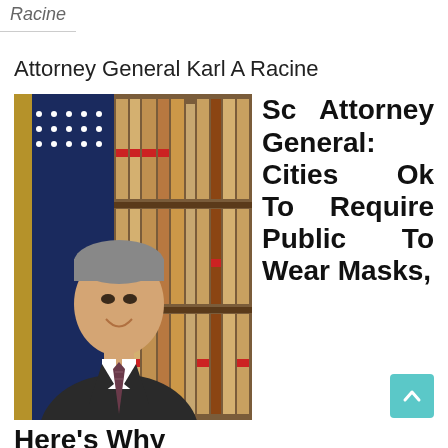Racine
Attorney General Karl A Racine
[Figure (photo): Professional photo of a man in a suit smiling, standing in front of an American flag and law book shelves]
Sc Attorney General: Cities Ok To Require Public To Wear Masks, Here’s Why
Grand juries have been thought-about one colonial